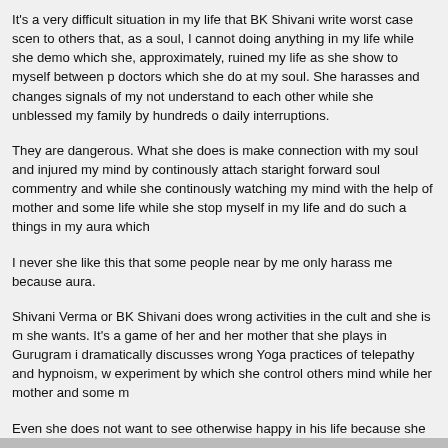It's a very difficult situation in my life that BK Shivani write worst case scenarios to others that, as a soul, I cannot doing anything in my life while she demo which she, approximately, ruined my life as she show to myself between p doctors which she do at my soul. She harasses and changes signals of my not understand to each other while she unblessed my family by hundreds o daily interruptions.
They are dangerous. What she does is make connection with my soul and injured my mind by continously attach staright forward soul commentry and while she continously watching my mind with the help of mother and some life while she stop myself in my life and do such a things in my aura which
I never she like this that some people near by me only harass me because aura.
Shivani Verma or BK Shivani does wrong activities in the cult and she is m she wants. It's a game of her and her mother that she plays in Gurugram i dramatically discusses wrong Yoga practices of telepathy and hypnoism, w experiment by which she control others mind while her mother and some m
Even she does not want to see otherwise happy in his life because she irri very rude and impractical.